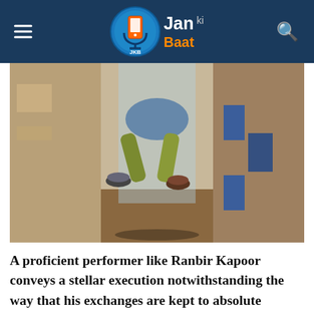Jan ki Baat
[Figure (photo): A person jumping or mid-air in a narrow alley between old weathered walls, viewed from below, wearing olive pants and sneakers.]
A proficient performer like Ranbir Kapoor conveys a stellar execution notwithstanding the way that his exchanges are kept to absolute minimum and after Barfi!, this was another flash of brilliance by the on-screen